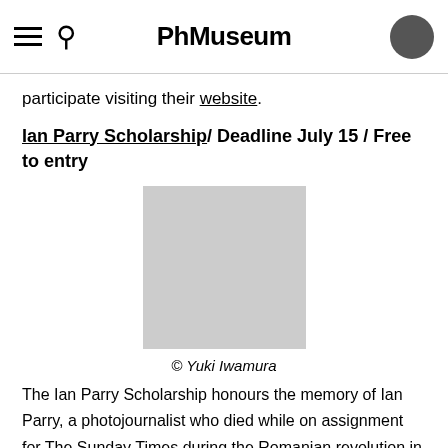PhMuseum
participate visiting their website.
Ian Parry Scholarship/ Deadline July 15 / Free to entry
[Figure (photo): Placeholder grey square image for Ian Parry Scholarship]
© Yuki Iwamura
The Ian Parry Scholarship honours the memory of Ian Parry, a photojournalist who died while on assignment for The Sunday Times during the Romanian revolution in 1989. The international photographic competition is